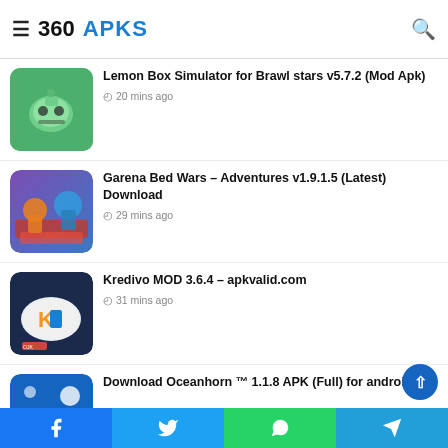360 APKS
Lemon Box Simulator for Brawl stars v5.7.2 (Mod Apk)
20 mins ago
Garena Bed Wars – Adventures v1.9.1.5 (Latest) Download
29 mins ago
Kredivo MOD 3.6.4 – apkvalid.com
31 mins ago
Download Oceanhorn ™ 1.1.8 APK (Full) for android